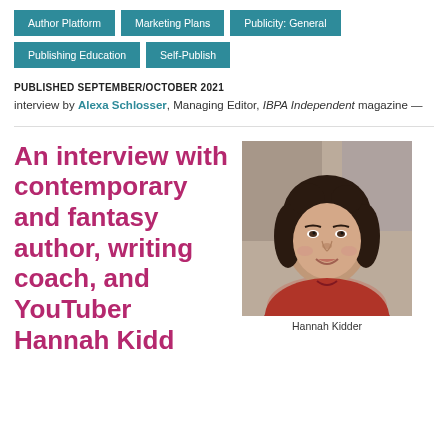Author Platform
Marketing Plans
Publicity: General
Publishing Education
Self-Publish
PUBLISHED SEPTEMBER/OCTOBER 2021
interview by Alexa Schlosser, Managing Editor, IBPA Independent magazine —
An interview with contemporary and fantasy author, writing coach, and YouTuber Hannah Kidder
[Figure (photo): Portrait photo of Hannah Kidder, a young woman with dark curly hair wearing a red top, smiling at the camera]
Hannah Kidder